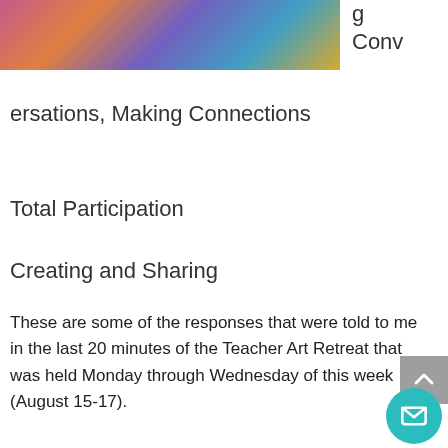[Figure (photo): Colorful photo of people or art, partially visible at top of page]
g
Conversations,  Making Connections
Total Participation
Creating and Sharing
These are some of the responses that were told to me in the last 20 minutes of the Teacher Art Retreat that was held Monday through Wednesday of this week (August 15-17).
I am so energized by the time we had together at this wonderful professional development event – a teacher retreat – where teachers came toge to have a most hands-on, interactive set of experiences for themselves and in turn for their